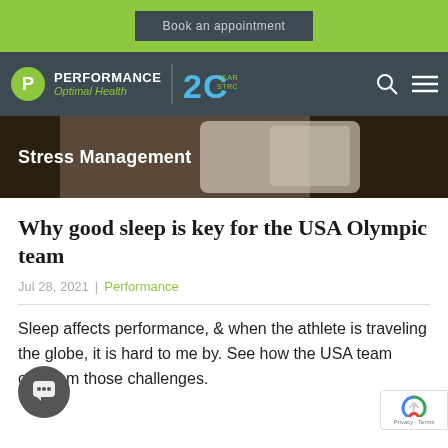Book an appointment
[Figure (logo): Performance Optimal Health logo with 20 Years Strong badge, search and menu icons on dark nav bar]
[Figure (photo): Hero image showing a bed/pillow scene with dark overlay and 'Stress Management' text overlay]
Why good sleep is key for the USA Olympic team
Jul 28, 2021 | Performance
Sleep affects performance, & when the athlete is traveling the globe, it is hard to me by. See how the USA team overcom those challenges.